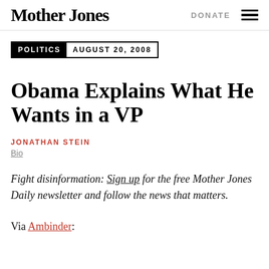Mother Jones   DONATE
POLITICS   AUGUST 20, 2008
Obama Explains What He Wants in a VP
JONATHAN STEIN
Bio
Fight disinformation: Sign up for the free Mother Jones Daily newsletter and follow the news that matters.
Via Ambinder: